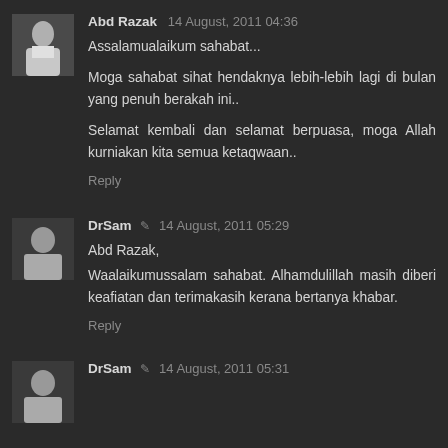Abd Razak 14 August, 2011 04:36
Assalamualaikum sahabat...

Moga sahabat sihat hendaknya lebih-lebih lagi di bulan yang penuh berakah ini..

Selamat kembali dan selamat berpuasa, moga Allah kurniakan kita semua ketaqwaan..
Reply
DrSam ✎ 14 August, 2011 05:29
Abd Razak,
Waalaikumussalam sahabat. Alhamdulillah masih diberi keafiatan dan terimakasih kerana bertanya khabar.
Reply
DrSam ✎ 14 August, 2011 05:31